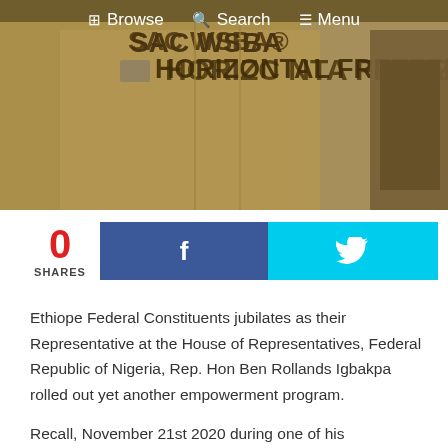[Figure (photo): Photo of cardboard boxes stacked, one labeled 'HORIZONTAL FREEZER', with a navigation bar overlay showing Browse, Search, and Menu links]
Browse  Search  Menu
0
SHARES
Ethiope Federal Constituents jubilates as their Representative at the House of Representatives, Federal Republic of Nigeria, Rep. Hon Ben Rollands Igbakpa rolled out yet another empowerment program.
Recall, November 21st 2020 during one of his empowerment program at James Onanefe Ibori Civic Center in his speech encouraged his Constituent that he just started adding that more will surely come.